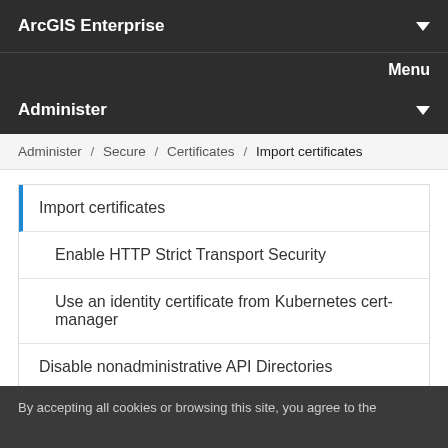ArcGIS Enterprise
Menu
Administer
Administer / Secure / Certificates / Import certificates
Import certificates
Enable HTTP Strict Transport Security
Use an identity certificate from Kubernetes cert-manager
Disable nonadministrative API Directories
By accepting all cookies or browsing this site, you agree to the